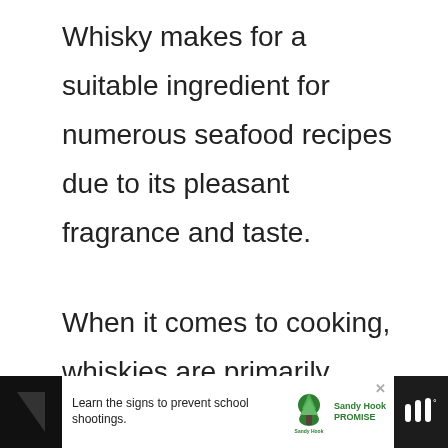Whisky makes for a suitable ingredient for numerous seafood recipes due to its pleasant fragrance and taste.
When it comes to cooking, whiskies are primarily used for red meat and smoked dishes. It makes a great addition to Russian and European dishes that take a significant time to cook and acquire its taste.
[Figure (screenshot): UI overlay with heart/like button (blue circle), count of 1, and share button]
[Figure (screenshot): What's Next panel with thumbnail image and text '12 Substitutes for Amaretto Liqueur']
[Figure (screenshot): Advertisement bar at bottom: 'Learn the signs to prevent school shootings.' with Sandy Hook Promise logo]